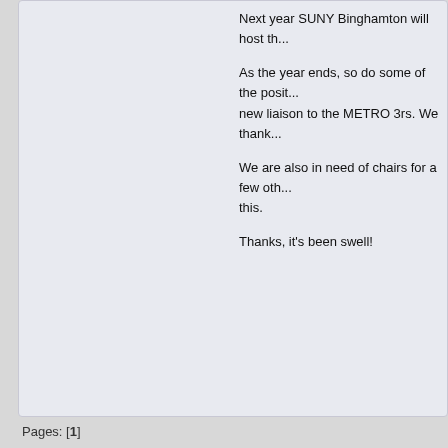Next year SUNY Binghamton will host th...
As the year ends, so do some of the positions. We have a new liaison to the METRO 3rs. We thank...
We are also in need of chairs for a few other committees. Please consider this.
Thanks, it's been swell!
Pages: [1]
SUNYLA Discussion Forums » SUNYLA Council » June 3, 2015 Council Meeting @ Pur...
Jump to: =>
Powered by SMF 2.0.18 :: SMF © 2006-2009, S
XHTML   RSS   WAP2